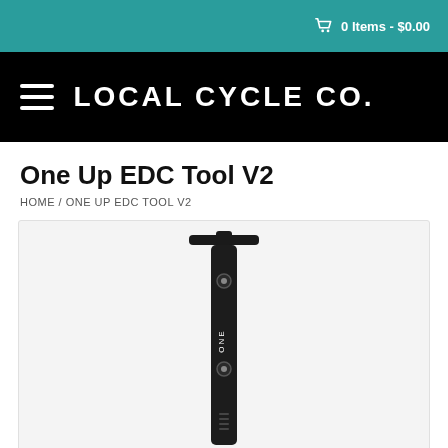0 Items - $0.00
LOCAL CYCLE CO.
One Up EDC Tool V2
HOME / ONE UP EDC TOOL V2
[Figure (photo): Black cylindrical multi-tool (One Up EDC Tool V2) shown vertically, with a T-shaped top cap and two visible hex bolt ports along the shaft, branded with 'ONE' text on the body.]